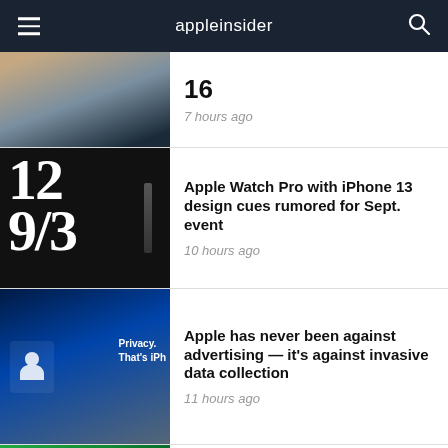appleinsider
16
7 hours ago
Apple Watch Pro with iPhone 13 design cues rumored for Sept. event
10 hours ago
Apple has never been against advertising — it's against invasive data collection
11 hours ago
Daily deals Aug. 27: Up to